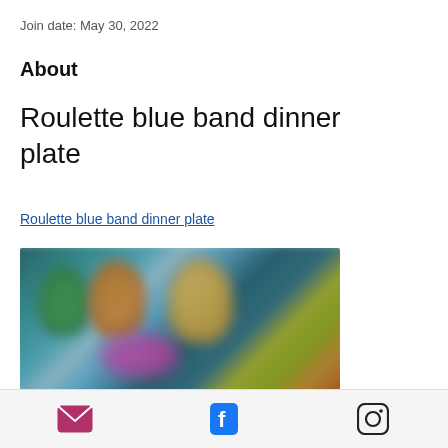Join date: May 30, 2022
About
Roulette blue band dinner plate
Roulette blue band dinner plate
[Figure (photo): Blurred screenshot showing animated or game characters on a dark teal/blue background with colored figures]
Email | Facebook | Instagram icons